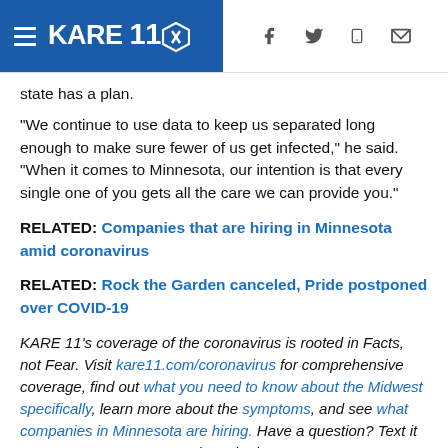KARE 11
state has a plan.
"We continue to use data to keep us separated long enough to make sure fewer of us get infected," he said. "When it comes to Minnesota, our intention is that every single one of you gets all the care we can provide you."
RELATED: Companies that are hiring in Minnesota amid coronavirus
RELATED: Rock the Garden canceled, Pride postponed over COVID-19
KARE 11's coverage of the coronavirus is rooted in Facts, not Fear. Visit kare11.com/coronavirus for comprehensive coverage, find out what you need to know about the Midwest specifically, learn more about the symptoms, and see what companies in Minnesota are hiring. Have a question? Text it to us at 763-797-7215. And get the latest